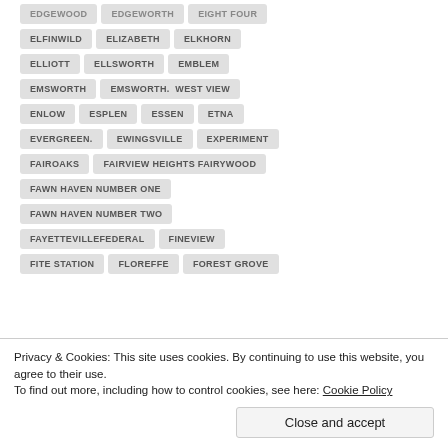EDGEWOOD
EDGEWORTH
EIGHT FOUR
ELFINWILD
ELIZABETH
ELKHORN
ELLIOTT
ELLSWORTH
EMBLEM
EMSWORTH
EMSWORTH. WEST VIEW
ENLOW
ESPLEN
ESSEN
ETNA
EVERGREEN.
EWINGSVILLE
EXPERIMENT
FAIROAKS
FAIRVIEW HEIGHTS FAIRYWOOD
FAWN HAVEN NUMBER ONE
FAWN HAVEN NUMBER TWO
FAYETTEVILLEFEDERAL
FINEVIEW
FITE STATION
FLOREFFE
FOREST GROVE
Privacy & Cookies: This site uses cookies. By continuing to use this website, you agree to their use.
To find out more, including how to control cookies, see here: Cookie Policy
Close and accept